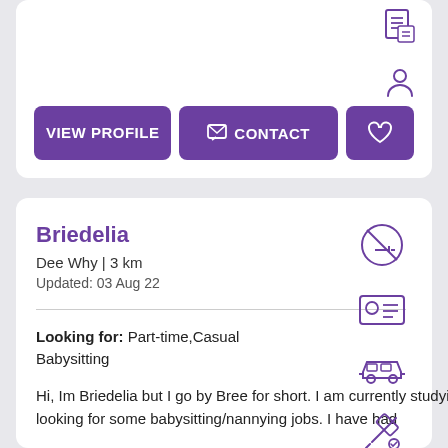[Figure (screenshot): Top portion of a profile card with icons (document, person) and three purple buttons: VIEW PROFILE, CONTACT, and a heart/favorite button]
Briedelia
Dee Why | 3 km
Updated: 03 Aug 22
Looking for: Part-time,Casual Babysitting
Hi, Im Briedelia but I go by Bree for short. I am currently studying at university and looking for some babysitting/nannying jobs. I have had